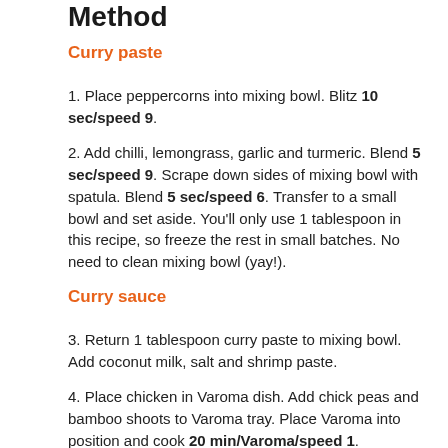Method
Curry paste
1. Place peppercorns into mixing bowl. Blitz 10 sec/speed 9.
2. Add chilli, lemongrass, garlic and turmeric. Blend 5 sec/speed 9. Scrape down sides of mixing bowl with spatula. Blend 5 sec/speed 6. Transfer to a small bowl and set aside. You'll only use 1 tablespoon in this recipe, so freeze the rest in small batches. No need to clean mixing bowl (yay!).
Curry sauce
3. Return 1 tablespoon curry paste to mixing bowl. Add coconut milk, salt and shrimp paste.
4. Place chicken in Varoma dish. Add chick peas and bamboo shoots to Varoma tray. Place Varoma into position and cook 20 min/Varoma/speed 1.